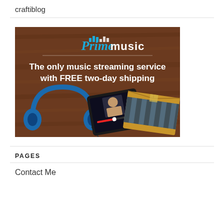craftiblog
[Figure (illustration): Amazon Prime Music advertisement banner showing blue headphones, a tablet with music app, and an Amazon package on a wooden floor background. Text reads: Prime music logo, 'The only music streaming service with FREE two-day shipping']
PAGES
Contact Me